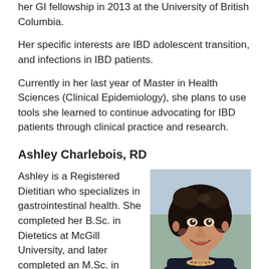her GI fellowship in 2013 at the University of British Columbia.
Her specific interests are IBD adolescent transition, and infections in IBD patients.
Currently in her last year of Master in Health Sciences (Clinical Epidemiology), she plans to use tools she learned to continue advocating for IBD patients through clinical practice and research.
Ashley Charlebois, RD
Ashley is a Registered Dietitian who specializes in gastrointestinal health. She completed her B.Sc. in Dietetics at McGill University, and later completed an M.Sc. in Experimental Medicine (Exercise Physiology and
[Figure (photo): Headshot photo of Ashley Charlebois, a woman with dark curly hair, smiling, wearing a dark blazer and a beaded necklace, photographed outdoors.]